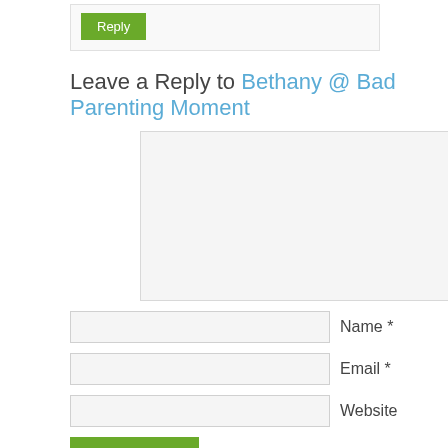Reply
Leave a Reply to Bethany @ Bad Parenting Moment
(comment textarea area)
Name *
Email *
Website
Post Comment
Notify me of follow-up comments by email.
Notify me of new posts by email.